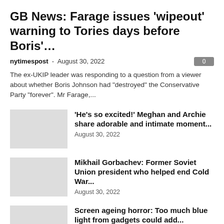GB News: Farage issues 'wipeout' warning to Tories days before Boris'…
nytimespost - August 30, 2022
The ex-UKIP leader was responding to a question from a viewer about whether Boris Johnson had "destroyed" the Conservative Party "forever". Mr Farage,...
'He's so excited!' Meghan and Archie share adorable and intimate moment...
August 30, 2022
Mikhail Gorbachev: Former Soviet Union president who helped end Cold War...
August 30, 2022
Screen ageing horror: Too much blue light from gadgets could add...
August 30, 2022
'He's screwed': Putin facing annihilation by